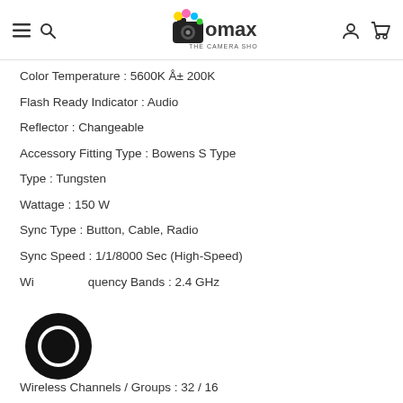OMAX The Camera Shop
Color Temperature : 5600K Å± 200K
Flash Ready Indicator : Audio
Reflector : Changeable
Accessory Fitting Type : Bowens S Type
Type : Tungsten
Wattage : 150 W
Sync Type : Button, Cable, Radio
Sync Speed : 1/1/8000 Sec (High-Speed)
Wireless Frequency Bands : 2.4 GHz
Wireless Channels / Groups : 32 / 16